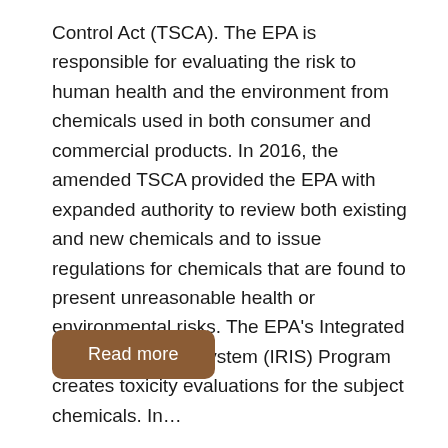Control Act (TSCA). The EPA is responsible for evaluating the risk to human health and the environment from chemicals used in both consumer and commercial products. In 2016, the amended TSCA provided the EPA with expanded authority to review both existing and new chemicals and to issue regulations for chemicals that are found to present unreasonable health or environmental risks. The EPA's Integrated Risk Information System (IRIS) Program creates toxicity evaluations for the subject chemicals. In…
Read more